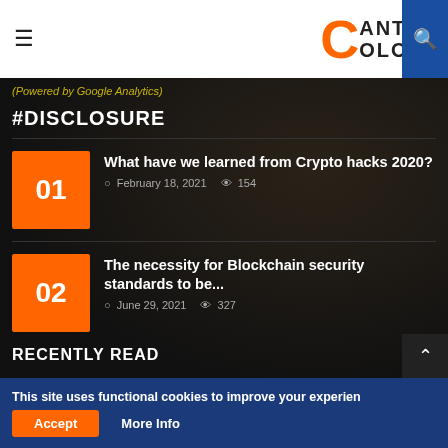CantiColos (logo with hamburger menu and search)
(Powered by Google Analytics)
#DISCLOSURE
01 – What have we learned from Crypto hacks 2020? | February 18, 2021 | 154
02 – The necessity for Blockchain security standards to be... | June 29, 2021 | 327
RECENTLY READ
This site uses functional cookies to improve your experien